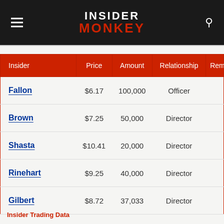INSIDER MONKEY
| Insider | Price | Amount | Relationship | Remain |
| --- | --- | --- | --- | --- |
| Fallon | $6.17 | 100,000 | Officer |  |
| Brown | $7.25 | 50,000 | Director |  |
| Shasta | $10.41 | 20,000 | Director |  |
| Rinehart | $9.25 | 40,000 | Director |  |
| Gilbert | $8.72 | 37,033 | Director |  |